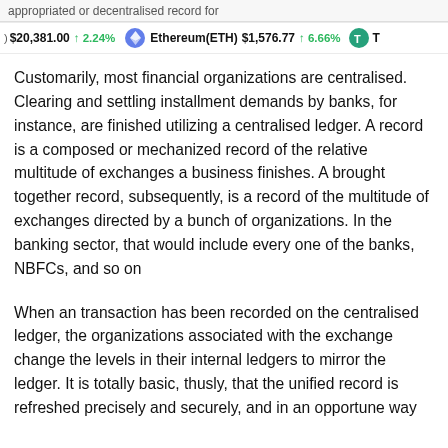appropriated or decentralized record for
) $20,381.00 ↑ 2.24% Ethereum(ETH) $1,576.77 ↑ 6.66% T
Customarily, most financial organizations are centralised. Clearing and settling installment demands by banks, for instance, are finished utilizing a centralised ledger. A record is a composed or mechanized record of the relative multitude of exchanges a business finishes. A brought together record, subsequently, is a record of the multitude of exchanges directed by a bunch of organizations. In the banking sector, that would include every one of the banks, NBFCs, and so on
When an transaction has been recorded on the centralised ledger, the organizations associated with the exchange change the levels in their internal ledgers to mirror the ledger. It is totally basic, thusly, that the unified record is refreshed precisely and securely, and in an opportune way to make it observe with the demands of the framework that